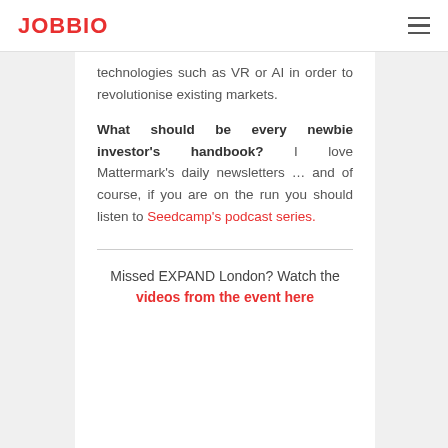JOBBIO
technologies such as VR or AI in order to revolutionise existing markets.
What should be every newbie investor's handbook? I love Mattermark's daily newsletters … and of course, if you are on the run you should listen to Seedcamp's podcast series.
Missed EXPAND London? Watch the videos from the event here